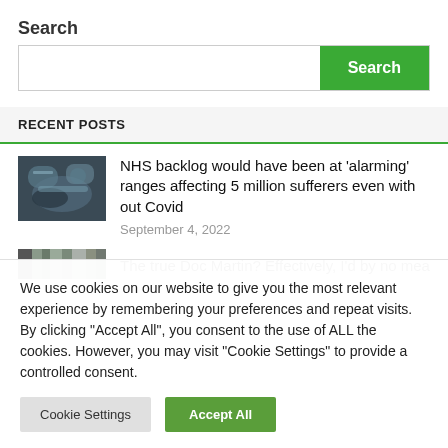Search
Search (search bar with Search button)
RECENT POSTS
NHS backlog would have been at 'alarming' ranges affecting 5 million sufferers even with out Covid — September 4, 2022
The true Doc Martin? Effectively, I'd by no means
We use cookies on our website to give you the most relevant experience by remembering your preferences and repeat visits. By clicking "Accept All", you consent to the use of ALL the cookies. However, you may visit "Cookie Settings" to provide a controlled consent.